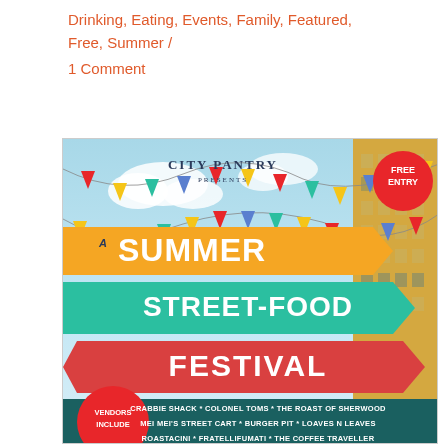Drinking, Eating, Events, Family, Featured, Free, Summer / 1 Comment
[Figure (illustration): City Pantry presents A Summer Street-Food Festival event poster. Features colorful bunting flags, a building illustration, teal and orange arrow banners with text 'A SUMMER STREET-FOOD FESTIVAL', a red 'FREE ENTRY' badge, a 'VENDORS INCLUDE' red circle badge, and vendor names: Crabbie Shack, Colonel Toms, The Roast of Sherwood, Mei Mei's Street Cart, Burger Pit, Loaves N Leaves, Roastacini, Fratellifumati, The Coffee Traveller]